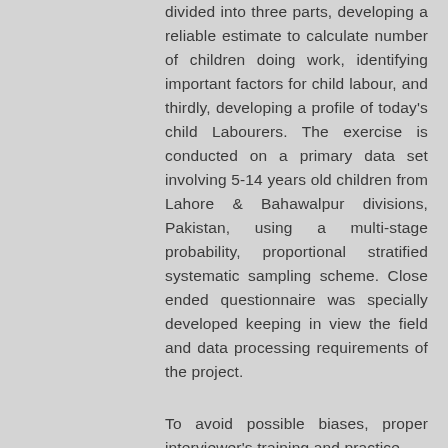divided into three parts, developing a reliable estimate to calculate number of children doing work, identifying important factors for child labour, and thirdly, developing a profile of today's child Labourers. The exercise is conducted on a primary data set involving 5-14 years old children from Lahore & Bahawalpur divisions, Pakistan, using a multi-stage probability, proportional stratified systematic sampling scheme. Close ended questionnaire was specially developed keeping in view the field and data processing requirements of the project.
To avoid possible biases, proper interviewer's training and practice